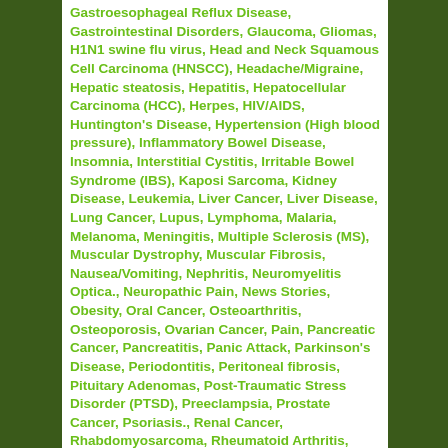Gastroesophageal Reflux Disease, Gastrointestinal Disorders, Glaucoma, Gliomas, H1N1 swine flu virus, Head and Neck Squamous Cell Carcinoma (HNSCC), Headache/Migraine, Hepatic steatosis, Hepatitis, Hepatocellular Carcinoma (HCC), Herpes, HIV/AIDS, Huntington's Disease, Hypertension (High blood pressure), Inflammatory Bowel Disease, Insomnia, Interstitial Cystitis, Irritable Bowel Syndrome (IBS), Kaposi Sarcoma, Kidney Disease, Leukemia, Liver Cancer, Liver Disease, Lung Cancer, Lupus, Lymphoma, Malaria, Melanoma, Meningitis, Multiple Sclerosis (MS), Muscular Dystrophy, Muscular Fibrosis, Nausea/Vomiting, Nephritis, Neuromyelitis Optica., Neuropathic Pain, News Stories, Obesity, Oral Cancer, Osteoarthritis, Osteoporosis, Ovarian Cancer, Pain, Pancreatic Cancer, Pancreatitis, Panic Attack, Parkinson's Disease, Periodontitis, Peritoneal fibrosis, Pituitary Adenomas, Post-Traumatic Stress Disorder (PTSD), Preeclampsia, Prostate Cancer, Psoriasis., Renal Cancer, Rhabdomyosarcoma, Rheumatoid Arthritis, Schizophrenia, Scleroderma, Sepsis, Sickle Cell Disease, Skin Cancer, Sleep Apnea, Spinal Cord Injury, Squamous Cell Carcinoma, Staphyloccus infections, Stiff-Person Syndrome (SPS), Stroke, Systemic Lupus Erythematous (SLE), THC (Delta-9-Tetrahydrocannabinol), Thyroid cancer, Tourette's